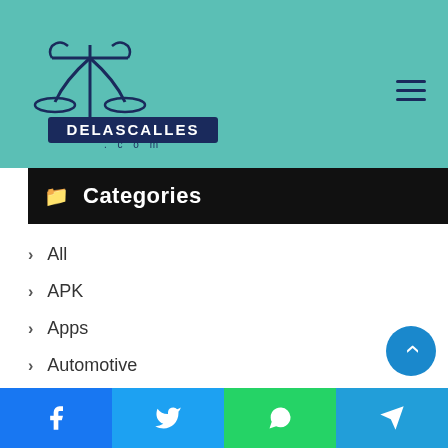[Figure (logo): Delascalles.com logo with scales of justice and banner on teal header background]
Categories
All
APK
Apps
Automotive
Beauty Tips
Biography
Blog
Business
Celebrity
Facebook | Twitter | WhatsApp | Telegram